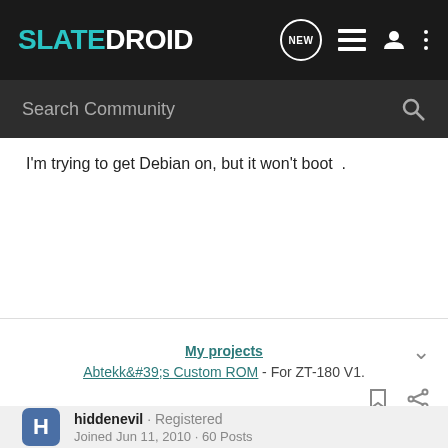SLATEDROID
I'm trying to get Debian on, but it won't boot .
My projects
Abtekk&#39;s Custom ROM - For ZT-180 V1.
hiddenevil · Registered
Joined Jun 11, 2010 · 60 Posts